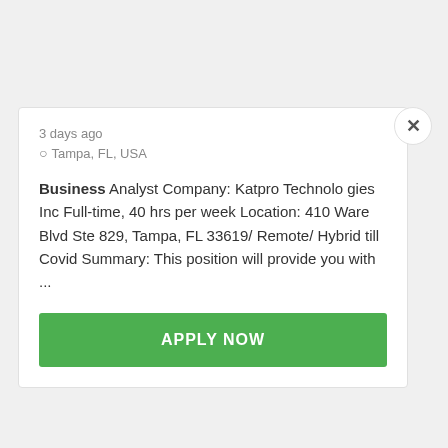3 days ago
Tampa, FL, USA
Business Analyst Company: Katpro Technolo gies Inc Full-time, 40 hrs per week Location: 410 Ware Blvd Ste 829, Tampa, FL 33619/ Remote/ Hybrid till Covid Summary: This position will provide you with ...
APPLY NOW